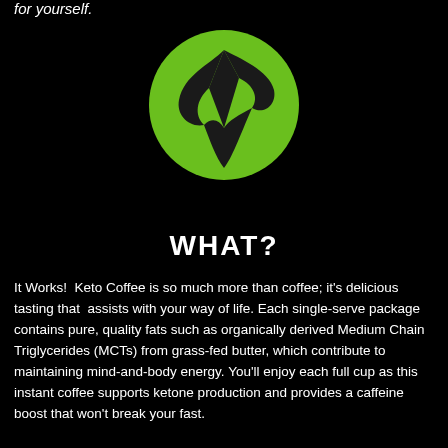for yourself.
[Figure (logo): It Works! brand logo — green circle with black stylized lightning bolt / arrow shapes inside]
WHAT?
It Works!  Keto Coffee is so much more than coffee; it's delicious tasting that  assists with your way of life. Each single-serve package contains pure, quality fats such as organically derived Medium Chain Triglycerides (MCTs) from grass-fed butter, which contribute to maintaining mind-and-body energy. You'll enjoy each full cup as this instant coffee supports ketone production and provides a caffeine boost that won't break your fast.